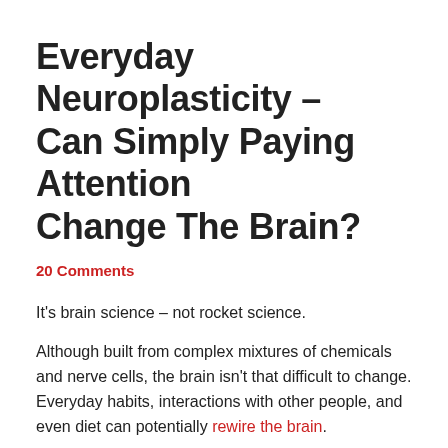Everyday Neuroplasticity – Can Simply Paying Attention Change The Brain?
20 Comments
It's brain science – not rocket science.
Although built from complex mixtures of chemicals and nerve cells, the brain isn't that difficult to change. Everyday habits, interactions with other people, and even diet can potentially rewire the brain.